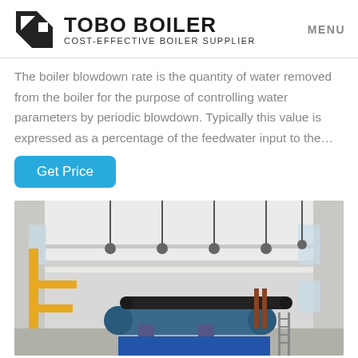TOBO BOILER COST-EFFECTIVE BOILER SUPPLIER | MENU
The boiler blowdown rate is the quantity of water removed from the boiler for the purpose of controlling water parameters by periodic blowdown. Typically this value is expressed as a percentage of the feedwater input to the…
Get Price
[Figure (photo): Interior of an industrial boiler facility showing large cylindrical boiler equipment, yellow structural steel framework, pipes, and a high-ceiling white warehouse-style building with windows.]